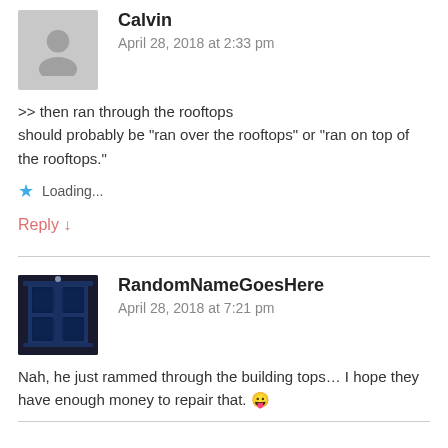Calvin
April 28, 2018 at 2:33 pm
>> then ran through the rooftops
should probably be "ran over the rooftops" or "ran on top of the rooftops."
Loading...
Reply ↓
RandomNameGoesHere
April 28, 2018 at 7:21 pm
Nah, he just rammed through the building tops… I hope they have enough money to repair that. 😛